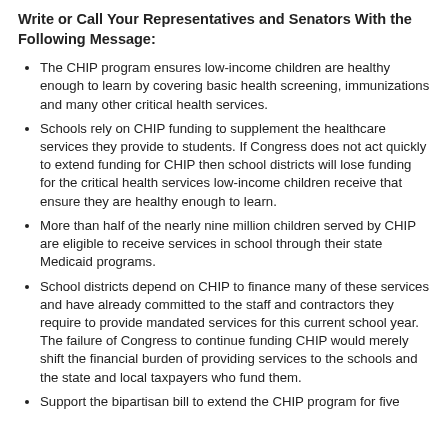Write or Call Your Representatives and Senators With the Following Message:
The CHIP program ensures low-income children are healthy enough to learn by covering basic health screening, immunizations and many other critical health services.
Schools rely on CHIP funding to supplement the healthcare services they provide to students. If Congress does not act quickly to extend funding for CHIP then school districts will lose funding for the critical health services low-income children receive that ensure they are healthy enough to learn.
More than half of the nearly nine million children served by CHIP are eligible to receive services in school through their state Medicaid programs.
School districts depend on CHIP to finance many of these services and have already committed to the staff and contractors they require to provide mandated services for this current school year. The failure of Congress to continue funding CHIP would merely shift the financial burden of providing services to the schools and the state and local taxpayers who fund them.
Support the bipartisan bill to extend the CHIP program for five